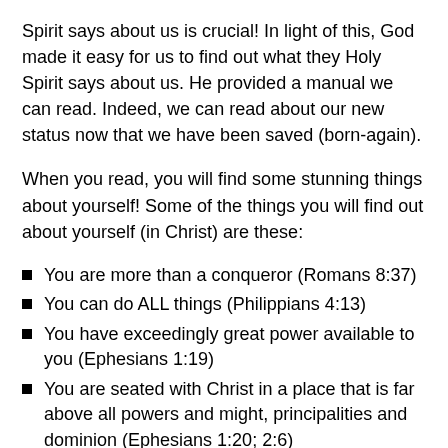Spirit says about us is crucial! In light of this, God made it easy for us to find out what they Holy Spirit says about us. He provided a manual we can read. Indeed, we can read about our new status now that we have been saved (born-again).
When you read, you will find some stunning things about yourself! Some of the things you will find out about yourself (in Christ) are these:
You are more than a conqueror (Romans 8:37)
You can do ALL things (Philippians 4:13)
You have exceedingly great power available to you (Ephesians 1:19)
You are seated with Christ in a place that is far above all powers and might, principalities and dominion (Ephesians 1:20; 2:6)